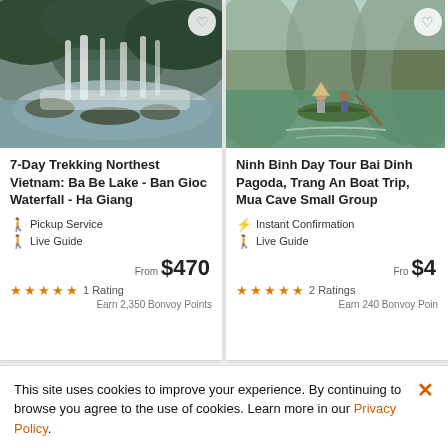[Figure (photo): Waterfall landscape in Northern Vietnam, Ban Gioc Waterfall]
7-Day Trekking Northest Vietnam: Ba Be Lake - Ban Gioc Waterfall - Ha Giang
Pickup Service
Live Guide
From $470
★★★★★ 1 Rating
Earn 2,350 Bonvoy Points
[Figure (photo): Boat trip on river at Ninh Binh, Vietnam, with limestone mountains]
Ninh Binh Day Tour Bai Dinh Pagoda, Trang An Boat Trip, Mua Cave Small Group
Instant Confirmation
Live Guide
From $4
★★★★★ 2 Ratings
Earn 240 Bonvoy Points
This site uses cookies to improve your experience. By continuing to browse you agree to the use of cookies. Learn more in our Privacy Policy.